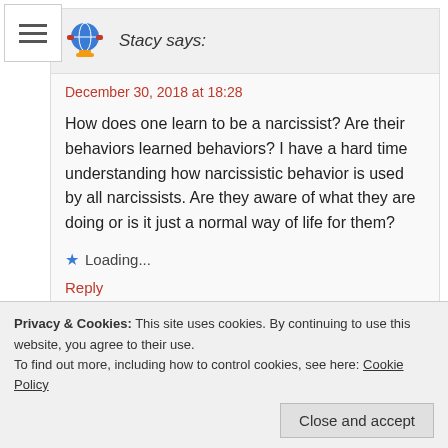Stacy says:
December 30, 2018 at 18:28
How does one learn to be a narcissist? Are their behaviors learned behaviors? I have a hard time understanding how narcissistic behavior is used by all narcissists. Are they aware of what they are doing or is it just a normal way of life for them?
Loading...
Reply
Privacy & Cookies: This site uses cookies. By continuing to use this website, you agree to their use.
To find out more, including how to control cookies, see here: Cookie Policy
Close and accept